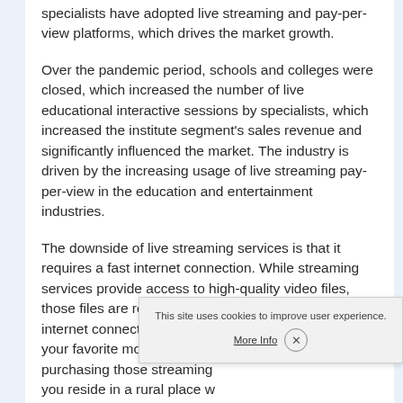specialists have adopted live streaming and pay-per-view platforms, which drives the market growth.
Over the pandemic period, schools and colleges were closed, which increased the number of live educational interactive sessions by specialists, which increased the institute segment's sales revenue and significantly influenced the market. The industry is driven by the increasing usage of live streaming pay-per-view in the education and entertainment industries.
The downside of live streaming services is that it requires a fast internet connection. While streaming services provide access to high-quality video files, those files are relatively large. If it does not have a fast internet connection, it simply becomes unable to enjoy your favorite movies and series in... purchasing those streaming... you reside in a rural place w... These are limitations for the Live Streaming Pay-Per-View